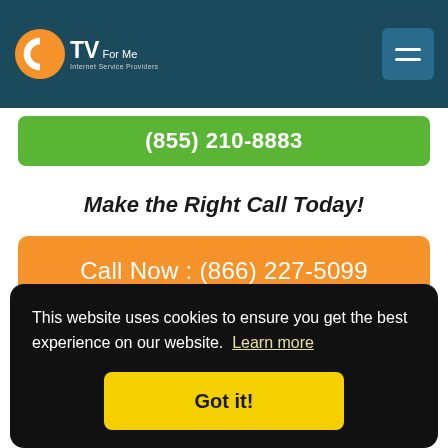CTV For Me - Internet Service Providers
(855) 210-8883
Make the Right Call Today!
Call Now : (866) 227-5099
EarthLink Security & Tools for
your ... ruses
t and phone service for over 20 years. With Earthlink
This website uses cookies to ensure you get the best experience on our website. Learn more
Got it!